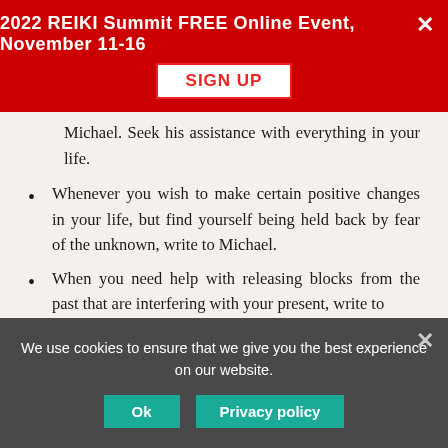2022 REIKI Summit FREE Online Event, November 11-16 | SIGN UP
Michael. Seek his assistance with everything in your life.
Whenever you wish to make certain positive changes in your life, but find yourself being held back by fear of the unknown, write to Michael.
When you need help with releasing blocks from the past that are interfering with your present, write to Michael.
When you need more resources and opportunities to be part of your life,
We use cookies to ensure that we give you the best experience on our website.